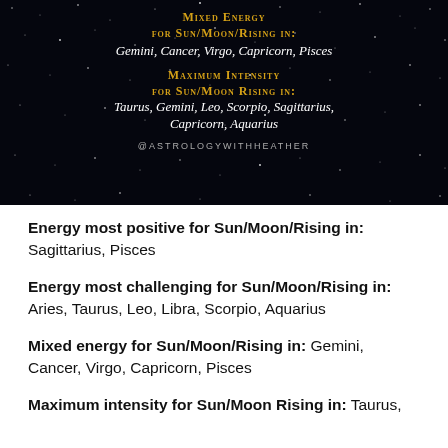[Figure (infographic): Dark starry night sky background with gold and white text about astrology energy for zodiac signs. Gold small-caps text reads 'Mixed Energy for Sun/Moon/Rising in:' with white italic 'Gemini, Cancer, Virgo, Capricorn, Pisces'. Then gold text 'Maximum Intensity for Sun/Moon Rising in:' with white italic 'Taurus, Gemini, Leo, Scorpio, Sagittarius, Capricorn, Aquarius'. Handle @ASTROLOGYWITHHEATHER at bottom.]
Energy most positive for Sun/Moon/Rising in: Sagittarius, Pisces
Energy most challenging for Sun/Moon/Rising in: Aries, Taurus, Leo, Libra, Scorpio, Aquarius
Mixed energy for Sun/Moon/Rising in: Gemini, Cancer, Virgo, Capricorn, Pisces
Maximum intensity for Sun/Moon Rising in: Taurus,